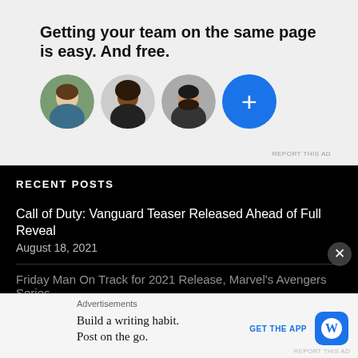[Figure (screenshot): Advertisement banner with light gray background showing text 'Getting your team on the same page is easy. And free.' with four circular avatar images (three person photos and one blue plus button)]
REPORT THIS AD
RECENT POSTS
Call of Duty: Vanguard Teaser Released Ahead of Full Reveal
August 18, 2021
Friday Man On Track for 2021 Release, Marvel's Avengers Series...
Advertisements
[Figure (screenshot): Bottom advertisement: 'Build a writing habit. Post on the go.' with GET THE APP link and WordPress logo]
REPORT THIS AD